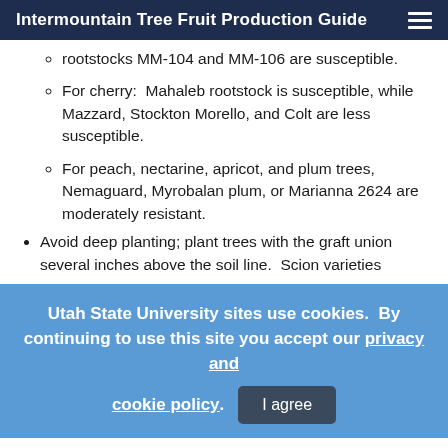Intermountain Tree Fruit Production Guide
rootstocks MM-104 and MM-106 are susceptible.
For cherry:  Mahaleb rootstock is susceptible, while Mazzard, Stockton Morello, and Colt are less susceptible.
For peach, nectarine, apricot, and plum trees, Nemaguard, Myrobalan plum, or Marianna 2624 are moderately resistant.
Avoid deep planting; plant trees with the graft union several inches above the soil line.  Scion varieties
Utah State University sites use cookies.  By continuing to use this site you accept our privacy and cookie policy.